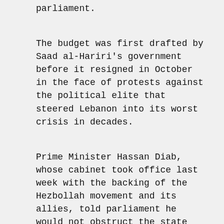parliament.
The budget was first drafted by Saad al-Hariri's government before it resigned in October in the face of protests against the political elite that steered Lebanon into its worst crisis in decades.
Prime Minister Hassan Diab, whose cabinet took office last week with the backing of the Hezbollah movement and its allies, told parliament he would not obstruct the state budget.
Lebanon's crisis is rooted in decades of state corruption and waste that have landed it with one of the world's heaviest public debt burdens. Foreign donors have said